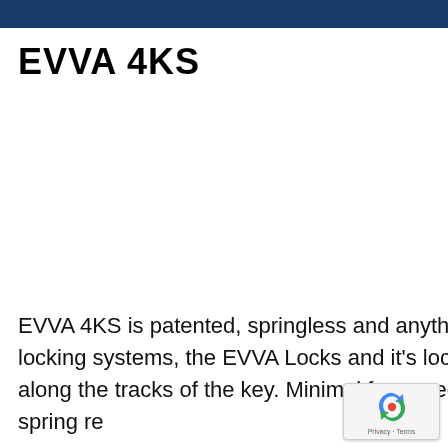EVVA 4KS
EVVA 4KS is patented, springless and anything but conventional. In contrast to other locking systems, the EVVA Locks and it’s locking elements in the cylinder are sliding along the tracks of the key. Minimal force needed to insert the key due to lack of spring re